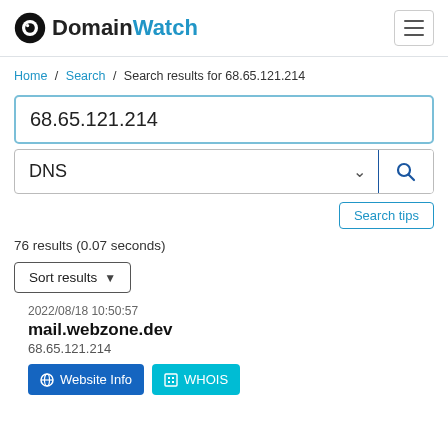DomainWatch
Home / Search / Search results for 68.65.121.214
68.65.121.214
DNS
Search tips
76 results (0.07 seconds)
Sort results
2022/08/18 10:50:57
mail.webzone.dev
68.65.121.214
Website Info  WHOIS